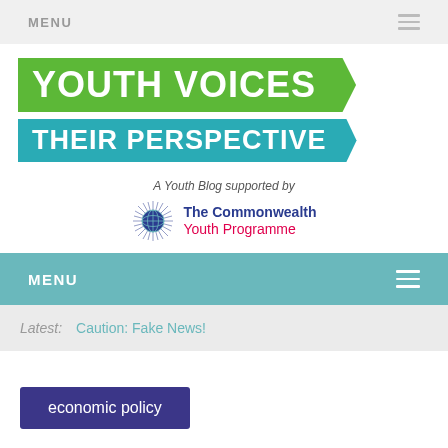MENU
YOUTH VOICES
THEIR PERSPECTIVE
A Youth Blog supported by
[Figure (logo): The Commonwealth Youth Programme logo with globe icon, blue text 'The Commonwealth' and pink text 'Youth Programme']
MENU
Latest:   Caution: Fake News!
economic policy